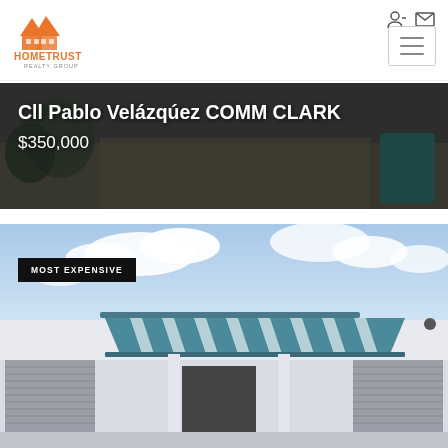[Figure (logo): HomeTrust Realty Group logo with orange house rooftops icon]
[Figure (photo): Property listing banner photo showing Cll Pablo Velázquez COMM CLARK with dark overlay, price $350,000]
Cll Pablo Velázquez COMM CLARK
$350,000
[Figure (photo): House exterior photo showing white house with teal/blue striped awning, white louvers, entrance door. Tagged as MOST EXPENSIVE.]
MOST EXPENSIVE